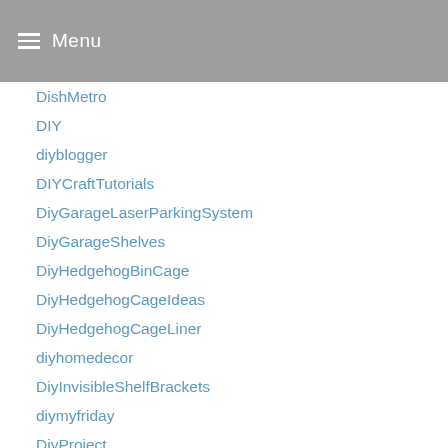Menu
DishMetro
DIY
diyblogger
DIYCraftTutorials
DiyGarageLaserParkingSystem
DiyGarageShelves
DiyHedgehogBinCage
DiyHedgehogCageIdeas
DiyHedgehogCageLiner
diyhomedecor
DiyInvisibleShelfBrackets
diymyfriday
DiyProject
DIYProjects
DiyPropaneWokBurner
diyrecyclebottle
diyroomdivider